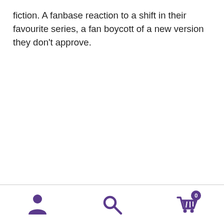fiction. A fanbase reaction to a shift in their favourite series, a fan boycott of a new version they don't approve.
[Figure (screenshot): Mobile app bottom navigation bar with three icons: a person/user icon on the left, a search/magnifying glass icon in the center, and a shopping cart icon with a badge showing '0' on the right. Icons are purple/violet colored.]